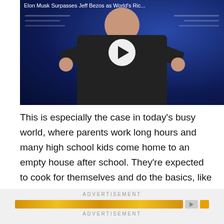[Figure (photo): Video thumbnail showing a man in a black jacket giving two thumbs up against a dark blue background. Text overlay reads 'Elon Musk Surpasses Jeff Bezos as World's Ric...' with a play button in the center.]
This is especially the case in today's busy world, where parents work long hours and many high school kids come home to an empty house after school. They're expected to cook for themselves and do the basics, like washing and laundry.
ADVERTISEMENT
ADVERTISEMENT